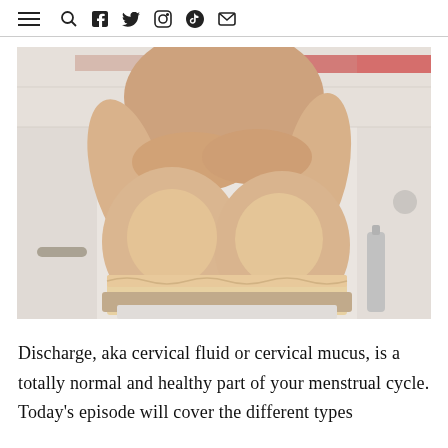≡ 🔍 f 🐦 📷 🎵 ✉
[Figure (photo): Person sitting on a toilet in a bathroom, photographed from mid-torso down, wearing underwear pulled down to mid-thigh. White tile walls visible in background.]
Discharge, aka cervical fluid or cervical mucus, is a totally normal and healthy part of your menstrual cycle. Today's episode will cover the different types